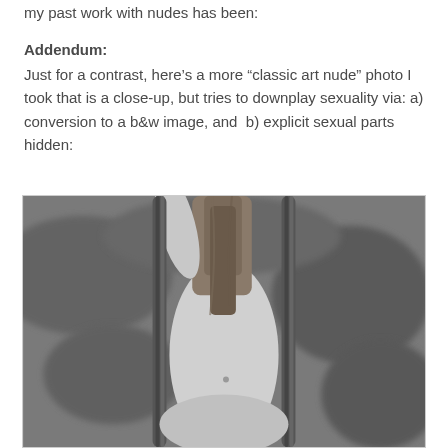my past work with nudes has been:
Addendum:
Just for a contrast, here’s a more “classic art nude” photo I took that is a close-up, but tries to downplay sexuality via: a) conversion to a b&w image, and  b) explicit sexual parts hidden:
[Figure (photo): Black and white close-up photograph of a person from behind, showing the back and mid-section, with rope/braid elements on either side framing the figure, taken outdoors with a blurred foliage background.]